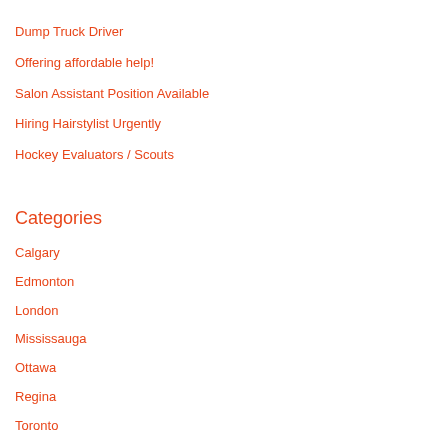Dump Truck Driver
Offering affordable help!
Salon Assistant Position Available
Hiring Hairstylist Urgently
Hockey Evaluators / Scouts
Categories
Calgary
Edmonton
London
Mississauga
Ottawa
Regina
Toronto
Vancouver